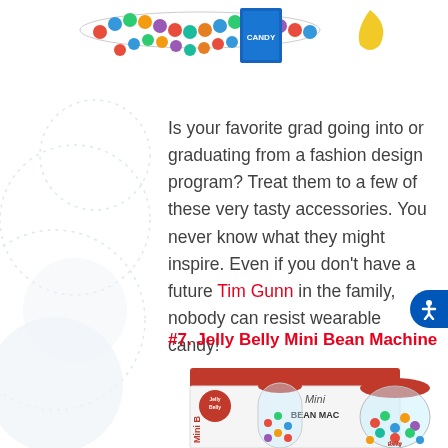[Figure (photo): Candy accessories including colorful bead necklaces, a box and a yellow item on white background]
Is your favorite grad going into or graduating from a fashion design program? Treat them to a few of these very tasty accessories. You never know what they might inspire. Even if you don't have a future Tim Gunn in the family, nobody can resist wearable candy!
#7. Jelly Belly Mini Bean Machine
[Figure (photo): Jelly Belly Mini Bean Machine product photo showing box and glass jar filled with colorful jelly beans]